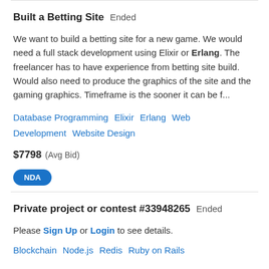Built a Betting Site  Ended
We want to build a betting site for a new game. We would need a full stack development using Elixir or Erlang. The freelancer has to have experience from betting site build. Would also need to produce the graphics of the site and the gaming graphics. Timeframe is the sooner it can be f...
Database Programming   Elixir   Erlang   Web Development   Website Design
$7798  (Avg Bid)
NDA
Private project or contest #33948265  Ended
Please Sign Up or Login to see details.
Blockchain   Node.js   Redis   Ruby on Rails